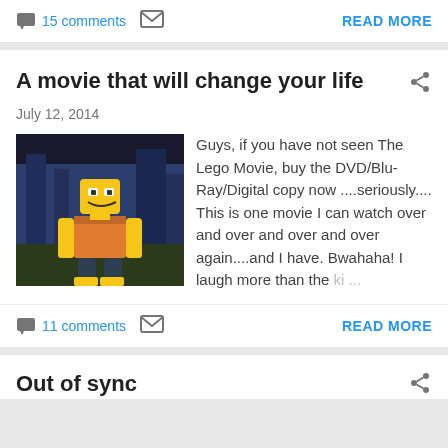15 comments  READ MORE
A movie that will change your life
July 12, 2014
[Figure (photo): Lego movie character (Emmet) in dark background scene]
Guys, if you have not seen The Lego Movie, buy the DVD/Blu-Ray/Digital copy now ....seriously.... This is one movie I can watch over and over and over and over again....and I have. Bwahaha! I laugh more than the ki ...
11 comments  READ MORE
Out of sync